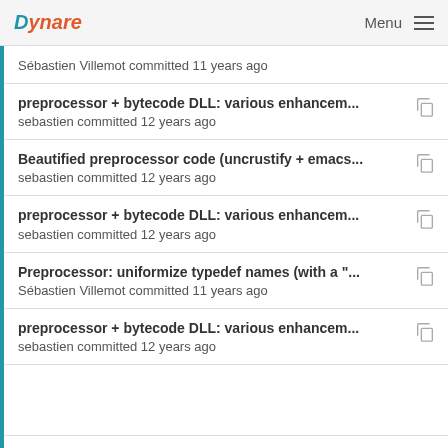Dynare  Menu
Sébastien Villemot committed 11 years ago
preprocessor + bytecode DLL: various enhancem...
sebastien committed 12 years ago
Beautified preprocessor code (uncrustify + emacs...
sebastien committed 12 years ago
preprocessor + bytecode DLL: various enhancem...
sebastien committed 12 years ago
Preprocessor: uniformize typedef names (with a "...
Sébastien Villemot committed 11 years ago
preprocessor + bytecode DLL: various enhancem...
sebastien committed 12 years ago
Preprocessor: rename "NodeID" in "expr_t"
Sébastien Villemot committed 11 years ago